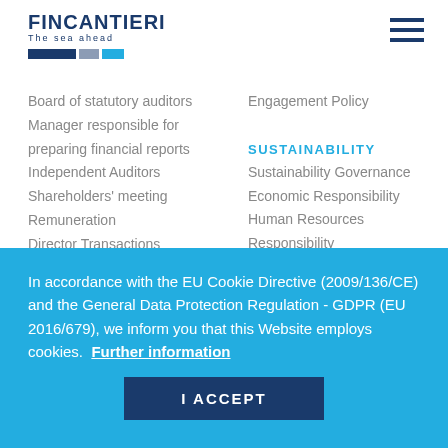[Figure (logo): Fincantieri logo with tagline 'The sea ahead' and colored bar]
Board of statutory auditors
Manager responsible for preparing financial reports
Independent Auditors
Shareholders' meeting
Remuneration
Director Transactions
MEDIA
Press Releases
Engagement Policy
SUSTAINABILITY
Sustainability Governance
Economic Responsibility
Human Resources Responsibility
Product Responsibility
Social Responsibility
Environmental Responsibility
In accordance with the EU Cookie Directive (2009/136/CE) and the General Data Protection Regulation - GDPR (EU 2016/679), we inform you that this Website employs cookies.  Further information
I ACCEPT